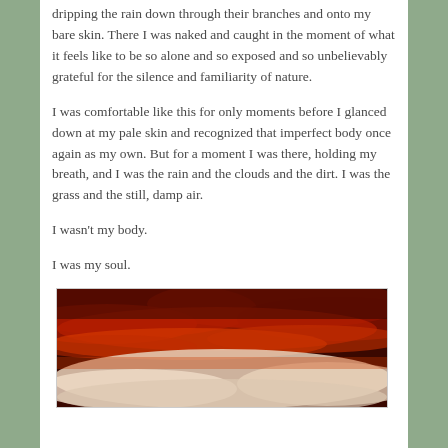dripping the rain down through their branches and onto my bare skin. There I was naked and caught in the moment of what it feels like to be so alone and so exposed and so unbelievably grateful for the silence and familiarity of nature.
I was comfortable like this for only moments before I glanced down at my pale skin and recognized that imperfect body once again as my own. But for a moment I was there, holding my breath, and I was the rain and the clouds and the dirt. I was the grass and the still, damp air.
I wasn't my body.
I was my soul.
[Figure (photo): A dramatic sky photo with deep red and orange clouds against a dark background, with lighter whitish clouds in the lower portion.]